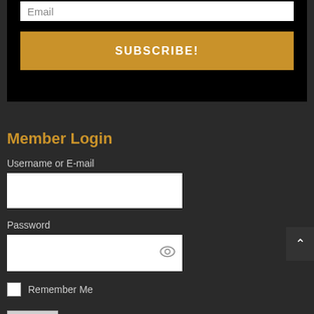[Figure (screenshot): Email input field (white rectangle) partially visible at top of black box]
SUBSCRIBE!
Member Login
Username or E-mail
[Figure (screenshot): White text input box for username or e-mail]
Password
[Figure (screenshot): White text input box for password with eye icon on right]
Remember Me
Log In